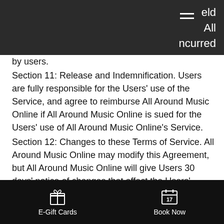ncurred
by users.
Section 11: Release and Indemnification. Users are fully responsible for the Users' use of the Service, and agree to reimburse All Around Music Online if All Around Music Online is sued for the Users' use of All Around Music Online's Service.
Section 12: Changes to these Terms of Service. All Around Music Online may modify this Agreement, but All Around Music Online will give Users 30 days' notice of changes that affect the Users' rights.
Section 13: Miscellaneous. Information on
E-Gift Cards    Book Now